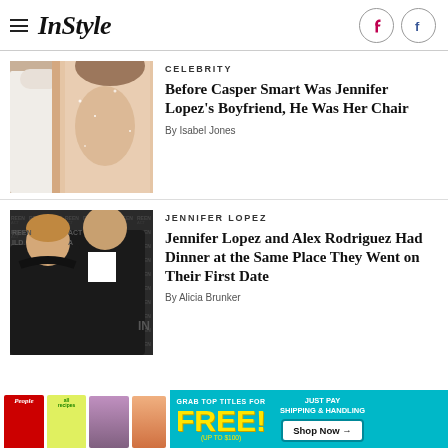InStyle
[Figure (photo): Celebrity couple in formal wear, woman in beaded/lace gown with open back, man in white suit jacket]
CELEBRITY
Before Casper Smart Was Jennifer Lopez's Boyfriend, He Was Her Chair
By Isabel Jones
[Figure (photo): Jennifer Lopez and Alex Rodriguez posing together at SAG Awards event in formal wear, black and white background]
JENNIFER LOPEZ
Jennifer Lopez and Alex Rodriguez Had Dinner at the Same Place They Went on Their First Date
By Alicia Brunker
[Figure (infographic): Advertisement banner: Grab top titles for FREE (up to $100), Just pay shipping & handling, Shop Now button. Shows People magazine and allrecipes covers.]